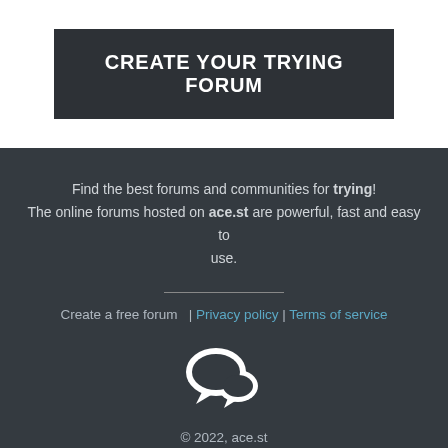CREATE YOUR TRYING FORUM
Find the best forums and communities for trying! The online forums hosted on ace.st are powerful, fast and easy to use.
Create a free forum  | Privacy policy | Terms of service
[Figure (illustration): Two overlapping speech bubble chat icons in white]
© 2022, ace.st